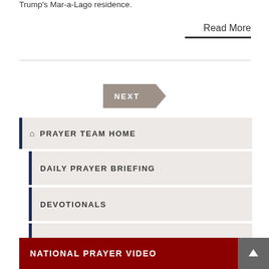Trump's Mar-a-Lago residence.
Read More
PRAYER TEAM HOME
DAILY PRAYER BRIEFING
DEVOTIONALS
WEEKLY PRAYER FOCUS
NATIONAL PRAYER VIDEO